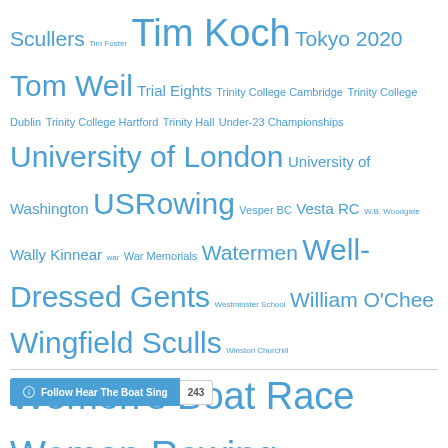Scullers Tim Foster Tim Koch Tokyo 2020 Tom Weil Trial Eights Trinity College Cambridge Trinity College Dublin Trinity College Hartford Trinity Hall Under-23 Championships University of London University of Washington USRowing Vesper BC Vesta RC W.B. Woodgate Wally Kinnear war War Memorials Watermen Well-Dressed Gents Westminster School William O'Chee Wingfield Sculls Winston Churchill Women's Boat Race Women Rowing wooden boats World Junior Championships World Rowing World Rowing Championships World Rowing Masters Regatta WWI Yale Youth Rowing
Follow Hear The Boat Sing 243